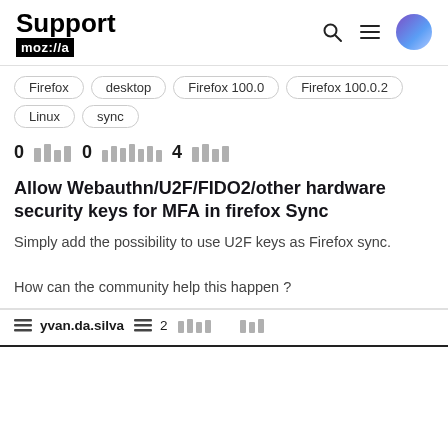Support moz://a
Firefox
desktop
Firefox 100.0
Firefox 100.0.2
Linux
sync
0  0    4
Allow Webauthn/U2F/FIDO2/other hardware security keys for MFA in firefox Sync
Simply add the possibility to use U2F keys as Firefox sync.

How can the community help this happen ?
yvan.da.silva  2